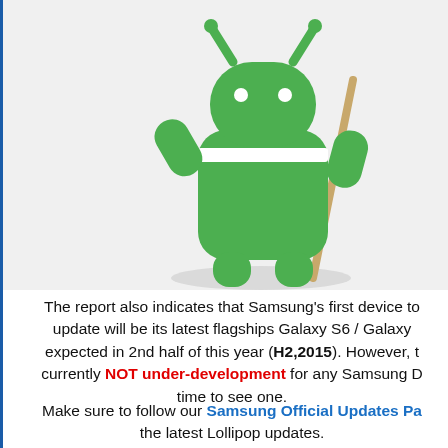[Figure (illustration): Android robot mascot (green) holding a walking stick/cane, shown from torso up, with shadow beneath, on a light gray background.]
The report also indicates that Samsung's first device to receive the update will be its latest flagships Galaxy S6 / Galaxy S6 Edge, expected in 2nd half of this year (H2,2015). However, the OS is currently NOT under-development for any Samsung Device. It will take time to see one.
Make sure to follow our Samsung Official Updates Page for the latest Lollipop updates.